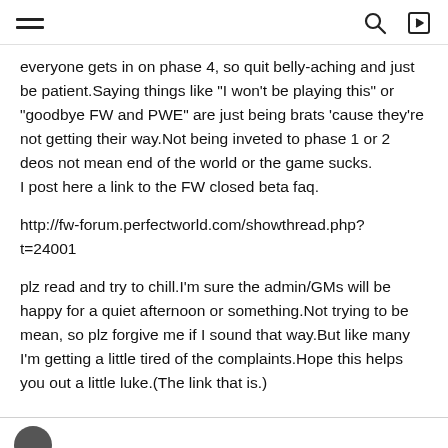everyone gets in on phase 4, so quit belly-aching and just be patient.Saying things like "I won't be playing this" or "goodbye FW and PWE" are just being brats 'cause they're not getting their way.Not being inveted to phase 1 or 2 deos not mean end of the world or the game sucks.
I post here a link to the FW closed beta faq.
http://fw-forum.perfectworld.com/showthread.php?t=24001
plz read and try to chill.I'm sure the admin/GMs will be happy for a quiet afternoon or something.Not trying to be mean, so plz forgive me if I sound that way.But like many I'm getting a little tired of the complaints.Hope this helps you out a little luke.(The link that is.)